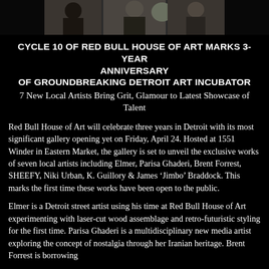[Figure (photo): A strip of photos showing people at what appears to be a gallery or social event, cropped at the top of the page.]
CYCLE 10 OF RED BULL HOUSE OF ART MARKS 3-YEAR ANNIVERSARY
OF GROUNDBREAKING DETROIT ART INCUBATOR
7 New Local Artists Bring Grit, Glamour to Latest Showcase of Talent
Red Bull House of Art will celebrate three years in Detroit with its most significant gallery opening yet on Friday, April 24. Hosted at 1551 Winder in Eastern Market, the gallery is set to unveil the exclusive works of seven local artists including Elmer, Parisa Ghaderi, Brent Forrest, SHEEFY, Niki Urban, K. Guillory & James ‘Jimbo’ Braddock. This marks the first time these works have been open to the public.
Elmer is a Detroit street artist using his time at Red Bull House of Art experimenting with laser-cut wood assemblage and retro-futuristic styling for the first time. Parisa Ghaderi is a multidisciplinary new media artist exploring the concept of nostalgia through her Iranian heritage. Brent Forrest is borrowing